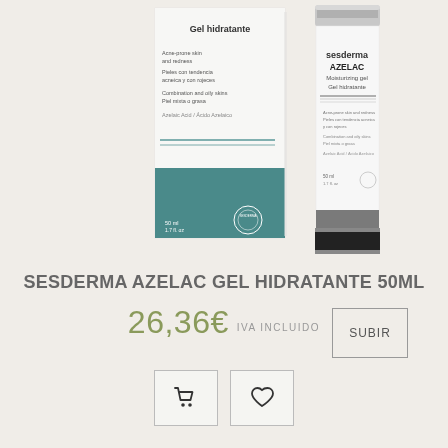[Figure (photo): Sesderma AZELAC Moisturizing Gel Hidratante 50ml product box and bottle/tube on light beige background]
SESDERMA AZELAC GEL HIDRATANTE 50ML
26,36€ IVA INCLUIDO
SUBIR
[Figure (infographic): Shopping cart icon button]
[Figure (infographic): Heart/wishlist icon button]